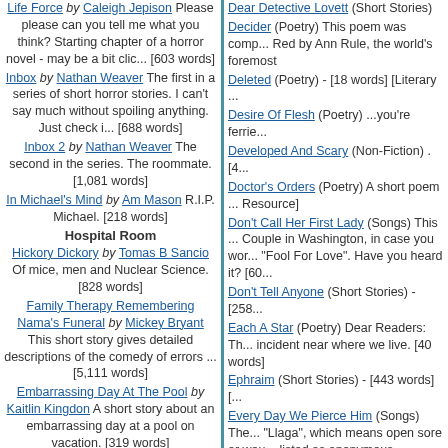Life Force by Caleigh Jepison Please please can you tell me what you think? Starting chapter of a horror novel - may be a bit clic... [603 words]
Inbox by Nathan Weaver The first in a series of short horror stories. I can't say much without spoiling anything. Just check i... [688 words]
Inbox 2 by Nathan Weaver The second in the series. The roommate. [1,081 words]
In Michael's Mind by Am Mason R.I.P. Michael. [218 words]
Hospital Room Hickory Dickory by Tomas B Sancio Of mice, men and Nuclear Science. [828 words]
Family Therapy Remembering Nama's Funeral by Mickey Bryant This short story gives detailed descriptions of the comedy of errors ... [5,111 words]
Embarrassing Day At The Pool by Kaitlin Kingdon A short story about an embarrassing day at a pool on vacation. [319 words]
Damn by Bk Kinsel It is all my
Dear Detective Lovett (Short Stories)
Decider (Poetry) This poem was comp... Red by Ann Rule, the world's foremost
Deleted (Poetry) - [18 words] [Literary ...
Desire Of Flesh (Poetry) ...you're ferrie...
Developed And Scary (Non-Fiction) . [4...
Doctor's Orders (Poetry) A short poem ... Resource]
Don't Call Her First Lady (Songs) This ... Couple in Washington, in case you wor... "Fool For Love". Have you heard it? [60...
Don't Tell Anyone (Short Stories) - [258...
Each A Star (Poetry) Dear Readers: Th... incident near where we live. [40 words]
Ephraim (Short Stories) - [443 words] [...
Every Day We Pierce Him (Songs) The... "Llaga", which means open sore or wou... listed as anonymous. Anyway, here are...
Everybody Loved Polly (Short Stories) ... [Popular Fiction]
Find Myself (Songs) Tune: Largo from ... [Romance]
Finding A Poem-Short Story Topic (No... Who/What can help me? [552 words] [...
Fishing Obligations (Essays) A short es... obligations. [558 words] [Relationships]
Five Prose Poems (Poetry) Here are fi...